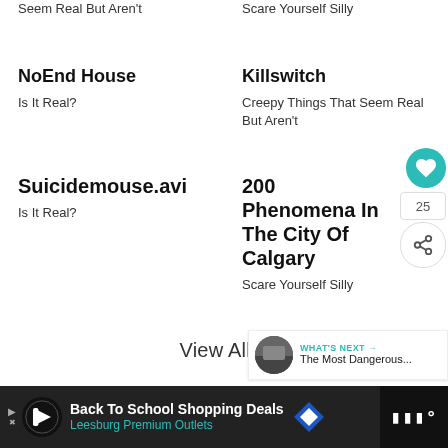Seem Real But Aren't
Scare Yourself Silly
NoEnd House
Is It Real?
Killswitch
Creepy Things That Seem Real But Aren't
Suicidemouse.avi
Is It Real?
200 Phenomena In The City Of Calgary
Scare Yourself Silly
View All >
WHAT'S NEXT → The Most Dangerous...
Back To School Shopping Deals Leesburg Premium Outlets